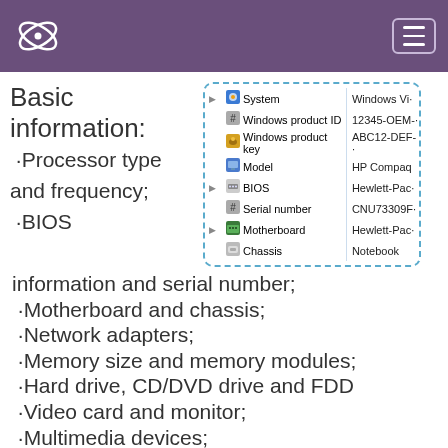Basic information:
[Figure (screenshot): A Windows system properties tree showing: System (Windows Vi...), Windows product ID (12345-OEM-...), Windows product key (ABC12-DEF-...), Model (HP Compaq), BIOS (Hewlett-Pac...), Serial number (CNU73309F...), Motherboard (Hewlett-Pac...), Chassis (Notebook)]
·Processor type and frequency;
·BIOS information and serial number;
·Motherboard and chassis;
·Network adapters;
·Memory size and memory modules;
·Hard drive, CD/DVD drive and FDD
·Video card and monitor;
·Multimedia devices;
·Modems and printers.